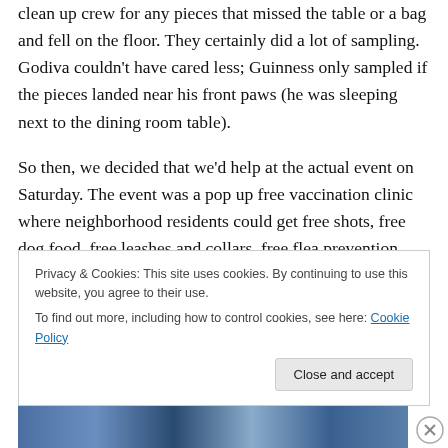clean up crew for any pieces that missed the table or a bag and fell on the floor. They certainly did a lot of sampling. Godiva couldn't have cared less; Guinness only sampled if the pieces landed near his front paws (he was sleeping next to the dining room table).
So then, we decided that we'd help at the actual event on Saturday. The event was a pop up free vaccination clinic where neighborhood residents could get free shots, free dog food, free leashes and collars, free flea prevention, free hay for dog houses, free nail trims (you may
Privacy & Cookies: This site uses cookies. By continuing to use this website, you agree to their use.
To find out more, including how to control cookies, see here: Cookie Policy